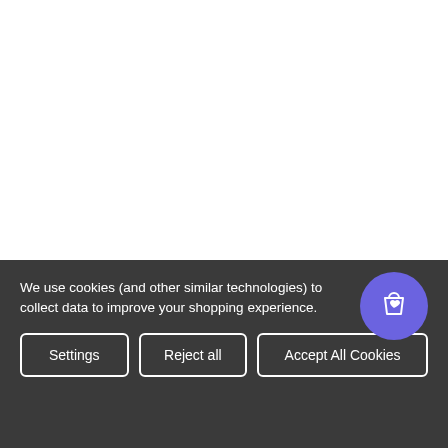[Figure (screenshot): White blank area representing page content above cookie banner]
We use cookies (and other similar technologies) to collect data to improve your shopping experience.
[Figure (illustration): Purple circular floating action button with a shopping bag and heart icon]
Settings
Reject all
Accept All Cookies